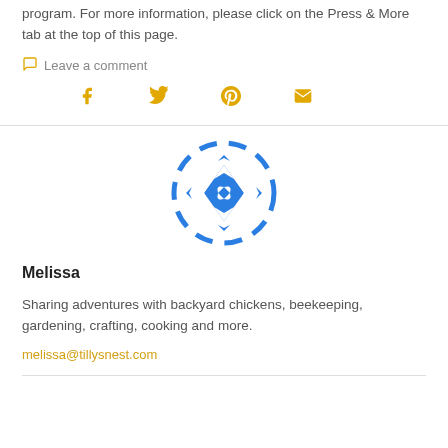program. For more information, please click on the Press & More tab at the top of this page.
Leave a comment
[Figure (infographic): Social media share icons: Facebook, Twitter, Pinterest, Email in golden/amber color]
[Figure (logo): Circular blue decorative quilt-pattern logo for Melissa / Tilly's Nest]
Melissa
Sharing adventures with backyard chickens, beekeeping, gardening, crafting, cooking and more.
melissa@tillysnest.com